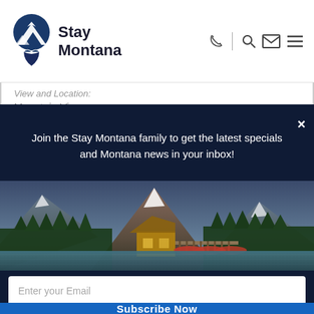[Figure (logo): Stay Montana logo with mountain and heart chevron icon in blue and dark navy]
View and Location:
Mountain Views
Join the Stay Montana family to get the latest specials and Montana news in your inbox!
[Figure (photo): Scenic mountain lake with lodge building and red canoes docked at a pier, evergreen trees and snow-capped mountains in background at dusk]
Enter your Email
Subscribe Now